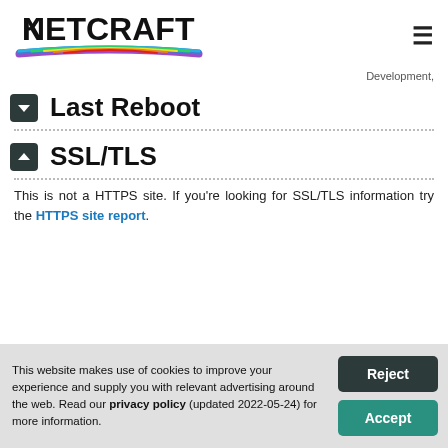NETCRAFT
Development,
Last Reboot
SSL/TLS
This is not a HTTPS site. If you're looking for SSL/TLS information try the HTTPS site report.
This website makes use of cookies to improve your experience and supply you with relevant advertising around the web. Read our privacy policy (updated 2022-05-24) for more information.